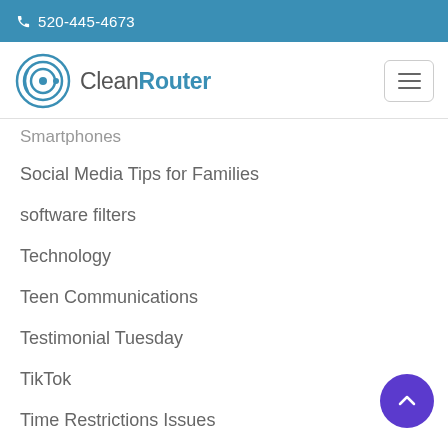520-445-4673
[Figure (logo): CleanRouter logo with concentric circle wifi icon and text CleanRouter]
Smartphones
Social Media Tips for Families
software filters
Technology
Teen Communications
Testimonial Tuesday
TikTok
Time Restrictions Issues
Tips